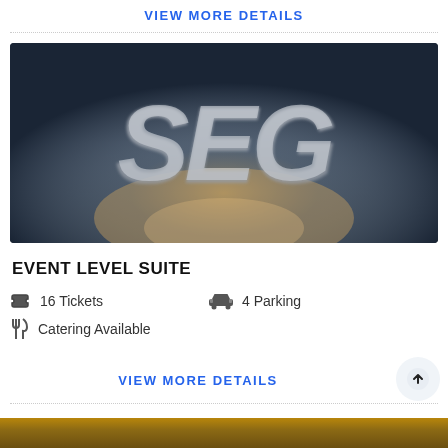VIEW MORE DETAILS
[Figure (logo): SEG logo on dark blurred background with bluish-grey tones and warm light glow at center bottom]
EVENT LEVEL SUITE
16 Tickets
4 Parking
Catering Available
VIEW MORE DETAILS